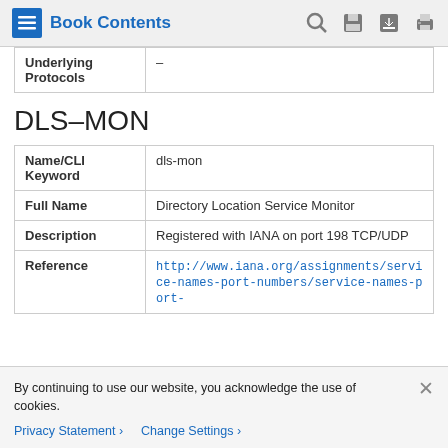Book Contents
| Underlying Protocols | - |
DLS-MON
| Name/CLI Keyword | dls-mon |
| Full Name | Directory Location Service Monitor |
| Description | Registered with IANA on port 198 TCP/UDP |
| Reference | http://www.iana.org/assignments/service-names-port-numbers/service-names-port- |
By continuing to use our website, you acknowledge the use of cookies.
Privacy Statement > Change Settings >